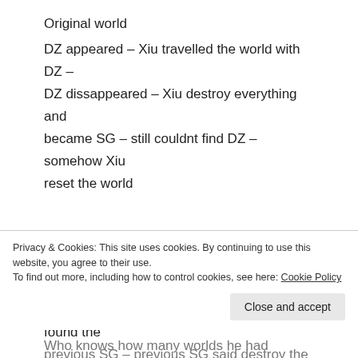Original world
DZ appeared – Xiu travelled the world with DZ – DZ dissappeared – Xiu destroy everything and became SG – still couldnt find DZ – somehow Xiu reset the world
2nd world
DZ appeared – Xiu conquered the world with DZ again – DZ disappeared yet again – Xiu found the previous SG – previous SG said destroy the world –
Privacy & Cookies: This site uses cookies. By continuing to use this website, you agree to their use.
To find out more, including how to control cookies, see here: Cookie Policy
Who knows how many worlds he had